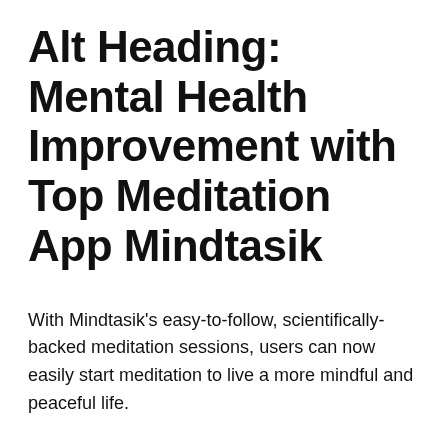Alt Heading: Mental Health Improvement with Top Meditation App Mindtasik
With Mindtasik's easy-to-follow, scientifically-backed meditation sessions, users can now easily start meditation to live a more mindful and peaceful life.
- November 10, 2021 —